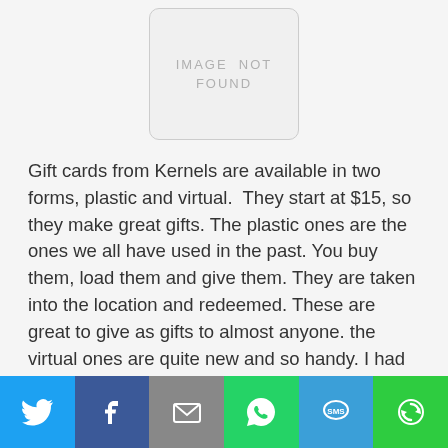[Figure (other): Image not found placeholder — a rounded rectangle with 'IMAGE NOT FOUND' text inside]
Gift cards from Kernels are available in two forms, plastic and virtual.  They start at $15, so they make great gifts. The plastic ones are the ones we all have used in the past. You buy them, load them and give them. They are taken into the location and redeemed. These are great to give as gifts to almost anyone. the virtual ones are quite new and so handy. I had one and was surprised how
[Figure (infographic): Social sharing bar with six buttons: Twitter (blue bird icon), Facebook (dark blue F icon), Email (grey envelope icon), WhatsApp (green phone icon), SMS (blue SMS bubble icon), More (green circular arrow icon)]